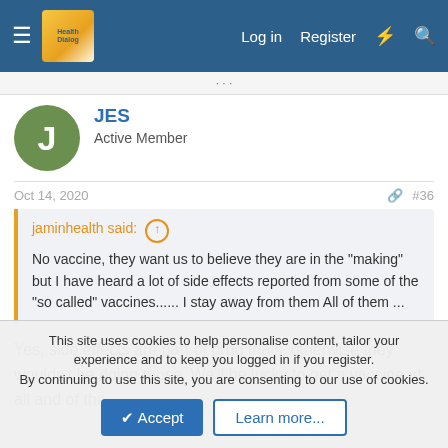HealthDialog — Log in  Register
jaminhealth said: No vaccine, they want us to believe they are in the "making" but I have heard a lot of side effects reported from some of the "so called" vaccines...... I stay away from them All of them ...
Oct 14, 2020  #36
JES
Active Member
Yes, side effects are part of drug trials, otherwise they wouldn't be doing those. We'll be lucky to get a vaccine at all and of the
This site uses cookies to help personalise content, tailor your experience and to keep you logged in if you register.
By continuing to use this site, you are consenting to our use of cookies.